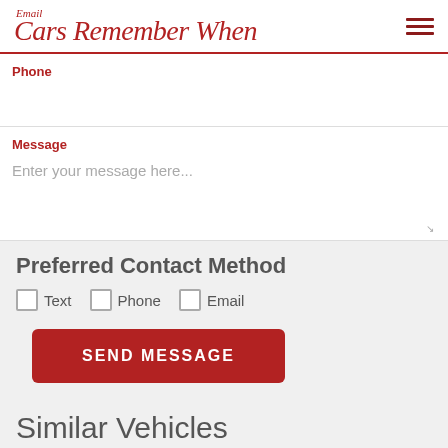Email Cars Remember When
Phone
Message
Enter your message here...
Preferred Contact Method
Text
Phone
Email
SEND MESSAGE
Similar Vehicles
[Figure (photo): Bottom edge of a vehicle photo strip]